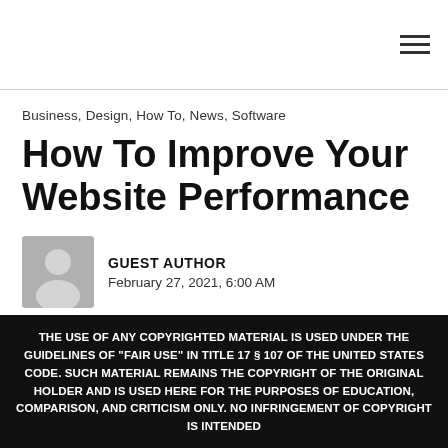☰
Business, Design, How To, News, Software
How To Improve Your Website Performance
GUEST AUTHOR
February 27, 2021, 6:00 AM
💬 Comments Off 🔥 746
THE USE OF ANY COPYRIGHTED MATERIAL IS USED UNDER THE GUIDELINES OF "FAIR USE" IN TITLE 17 § 107 OF THE UNITED STATES CODE. SUCH MATERIAL REMAINS THE COPYRIGHT OF THE ORIGINAL HOLDER AND IS USED HERE FOR THE PURPOSES OF EDUCATION, COMPARISON, AND CRITICISM ONLY. NO INFRINGEMENT OF COPYRIGHT IS INTENDED